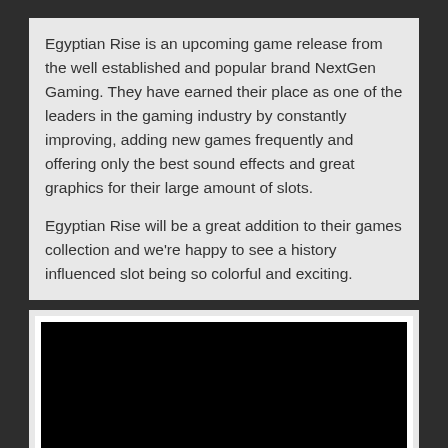Egyptian Rise is an upcoming game release from the well established and popular brand NextGen Gaming. They have earned their place as one of the leaders in the gaming industry by constantly improving, adding new games frequently and offering only the best sound effects and great graphics for their large amount of slots.
Egyptian Rise will be a great addition to their games collection and we're happy to see a history influenced slot being so colorful and exciting.
[Figure (photo): Black rectangular image area, likely a video or screenshot placeholder]